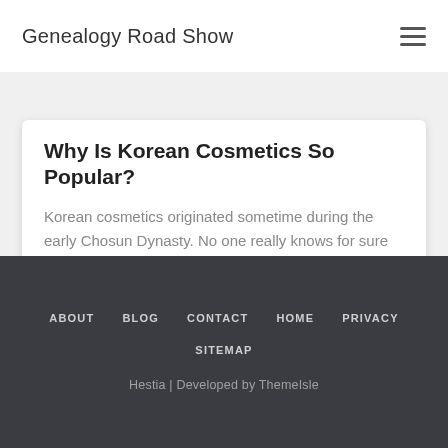Genealogy Road Show
Why Is Korean Cosmetics So Popular?
Korean cosmetics originated sometime during the early Chosun Dynasty. No one really knows for sure when it all started, but the Korean population of the Early Chosun era was perhaps the first folks to experiment  Read more…
ABOUT  BLOG  CONTACT  HOME  PRIVACY  SITEMAP  Hestia | Developed by ThemeIsle